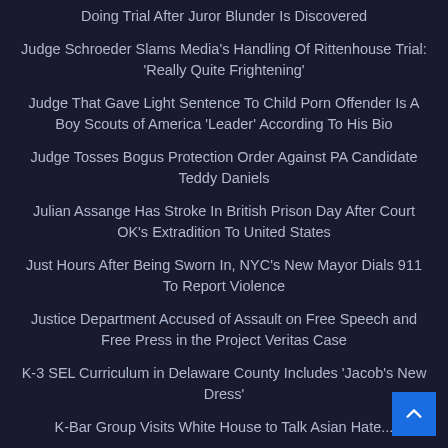Doing Trial After Juror Blunder Is Discovered
Judge Schroeder Slams Media's Handling Of Rittenhouse Trial: 'Really Quite Frightening'
Judge That Gave Light Sentence To Child Porn Offender Is A Boy Scouts of America 'Leader' According To His Bio
Judge Tosses Bogus Protection Order Against PA Candidate Teddy Daniels
Julian Assange Has Stroke In British Prison Day After Court OK's Extradition To United States
Just Hours After Being Sworn In, NYC's New Mayor Dials 911 To Report Violence
Justice Department Accused of Assault on Free Speech and Free Press in the Project Veritas Case
K-3 SEL Curriculum in Delaware County Includes 'Jacob's New Dress'
K-Bar Group Visits White House to Talk Asian Hate...